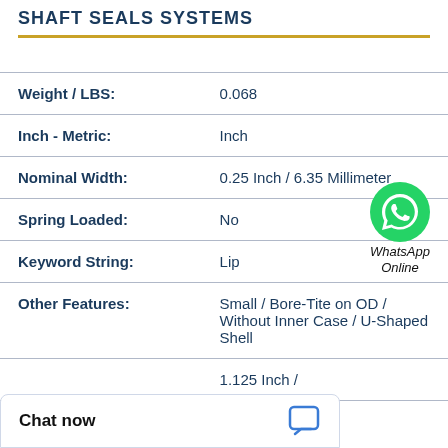SHAFT SEALS SYSTEMS
| Property | Value |
| --- | --- |
| Weight / LBS: | 0.068 |
| Inch - Metric: | Inch |
| Nominal Width: | 0.25 Inch / 6.35 Millimeter |
| Spring Loaded: | No |
| Keyword String: | Lip |
| Other Features: | Small / Bore-Tite on OD / Without Inner Case / U-Shaped Shell |
|  | 1.125 Inch / |
[Figure (logo): WhatsApp green circle icon with phone handset, labeled WhatsApp Online]
Chat now